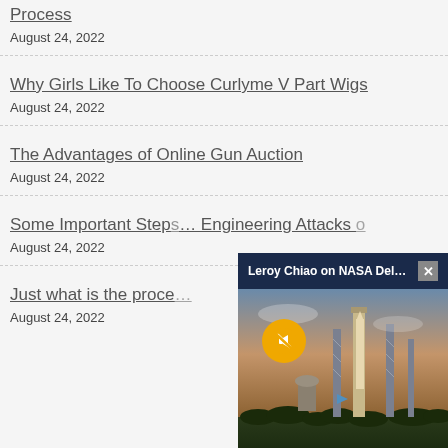Process
August 24, 2022
Why Girls Like To Choose Curlyme V Part Wigs
August 24, 2022
The Advantages of Online Gun Auction
August 24, 2022
Some Important Steps ... Engineering Attacks ...
August 24, 2022
Just what is the proce...
August 24, 2022
[Figure (screenshot): Video overlay popup: 'Leroy Chiao on NASA Delay of the A...' with a launch pad photo at dusk showing rockets/towers, mute button, and close button]